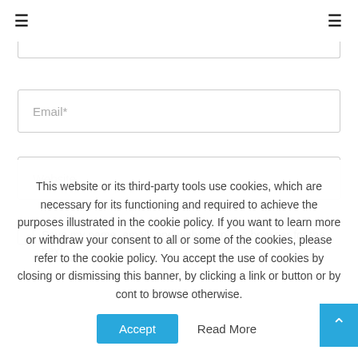≡  ≡
Email*
Website
Save my name, email, and website in this browser for the next
This website or its third-party tools use cookies, which are necessary for its functioning and required to achieve the purposes illustrated in the cookie policy. If you want to learn more or withdraw your consent to all or some of the cookies, please refer to the cookie policy. You accept the use of cookies by closing or dismissing this banner, by clicking a link or button or by cont to browse otherwise.